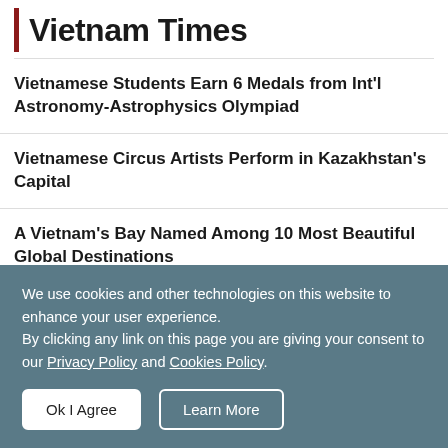Vietnam Times
Vietnamese Students Earn 6 Medals from Int'l Astronomy-Astrophysics Olympiad
Vietnamese Circus Artists Perform in Kazakhstan's Capital
A Vietnam's Bay Named Among 10 Most Beautiful Global Destinations
We use cookies and other technologies on this website to enhance your user experience.
By clicking any link on this page you are giving your consent to our Privacy Policy and Cookies Policy.
Ok I Agree | Learn More